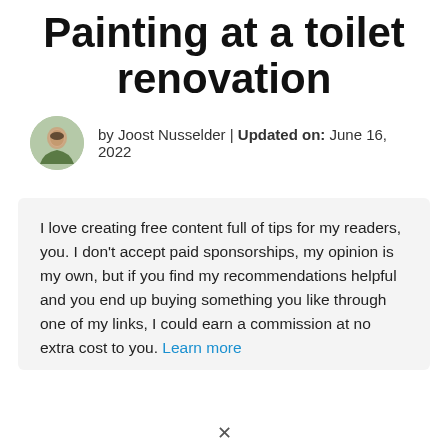Painting at a toilet renovation
by Joost Nusselder | Updated on: June 16, 2022
I love creating free content full of tips for my readers, you. I don't accept paid sponsorships, my opinion is my own, but if you find my recommendations helpful and you end up buying something you like through one of my links, I could earn a commission at no extra cost to you. Learn more